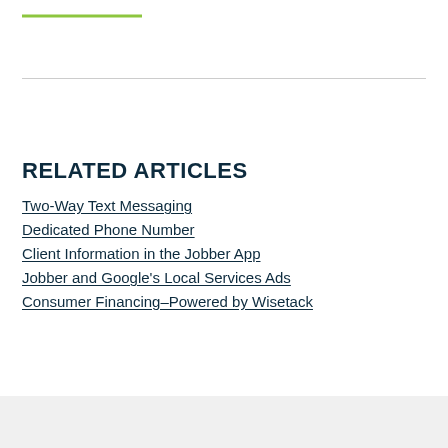Jobber logo
RELATED ARTICLES
Two-Way Text Messaging
Dedicated Phone Number
Client Information in the Jobber App
Jobber and Google's Local Services Ads
Consumer Financing–Powered by Wisetack